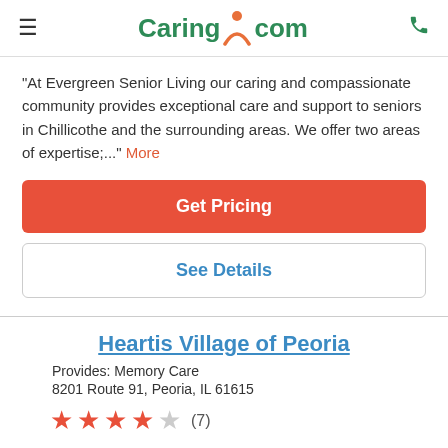Caring.com
"At Evergreen Senior Living our caring and compassionate community provides exceptional care and support to seniors in Chillicothe and the surrounding areas. We offer two areas of expertise;..." More
Get Pricing
See Details
Heartis Village of Peoria
Provides: Memory Care
8201 Route 91, Peoria, IL 61615
★★★★☆ (7)